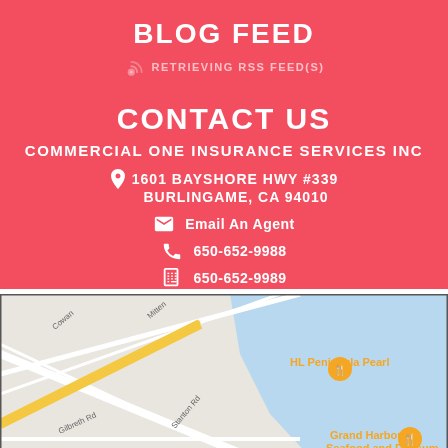BLOG FEED
RETRIEVING RSS FEED(S)
CONTACT US
COMMERCIAL ONE INSURANCE SERVICES INC
1601 BAYSHORE HWY #339 BURLINGAME, CA 94010
Email An Agent
650-652-9988
650-652-9989
[Figure (map): Google Maps screenshot showing the area around 1601 Bayshore Hwy, Burlingame, CA 94010, with markers for HL Peninsula Pearl and Grand Harbor Seafood and Dimsum]